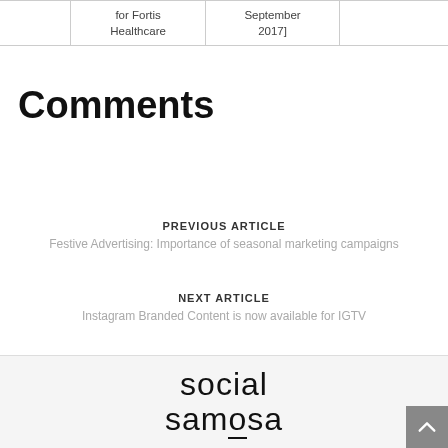|  | for Fortis Healthcare | September 2017] |  |
| --- | --- | --- | --- |
Comments
PREVIOUS ARTICLE
Festive Advertising: Importance of seasonal marketing campaigns
NEXT ARTICLE
Instagram Branded Content is now available for IGTV
[Figure (logo): Social Samosa logo — text reading 'social samosa' in a large sans-serif font]